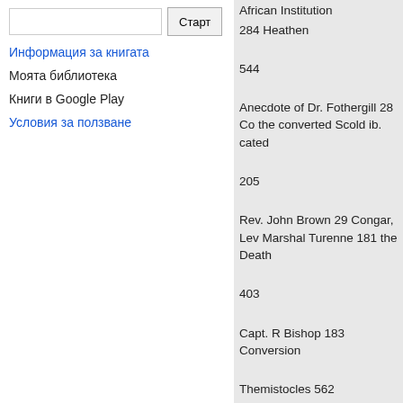[search input box] Старт
Информация за книгата
Моята библиотека
Книги в Google Play
Условия за ползване
African Institution
284 Heathen

544

Anecdote of Dr. Fothergill 28 Co the converted Scold ib. cated

205

Rev. John Brown 29 Congar, Lev Marshal Turenne 181 the Death

403

Capt. R Bishop 183 Conversion

Themistocles 562 Correspondent Anti-Duelling Association 177 [ Arndt, Extract from

256 480,536,576.

Association, General, of the Con gregational Ministers in Mas. Cr sachusetts
45,141 Cross, the Doctrine of

309

Association, General, of New

D